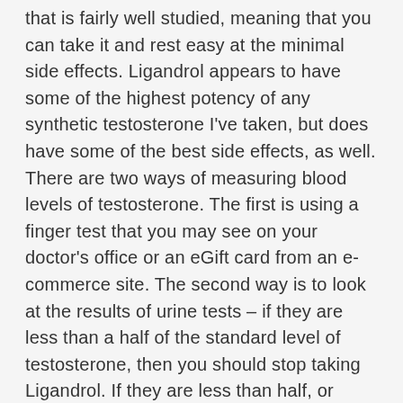that is fairly well studied, meaning that you can take it and rest easy at the minimal side effects. Ligandrol appears to have some of the highest potency of any synthetic testosterone I've taken, but does have some of the best side effects, as well. There are two ways of measuring blood levels of testosterone. The first is using a finger test that you may see on your doctor's office or an eGift card from an e-commerce site. The second way is to look at the results of urine tests – if they are less than a half of the standard level of testosterone, then you should stop taking Ligandrol. If they are less than half, or higher than, the normal level, the dosage should be reduced. The second way of measuring testosterone levels is taking a blood test. For people who take a very high dose of testosterone for a long period of time, such as someone taking a high number of tablets, you have to